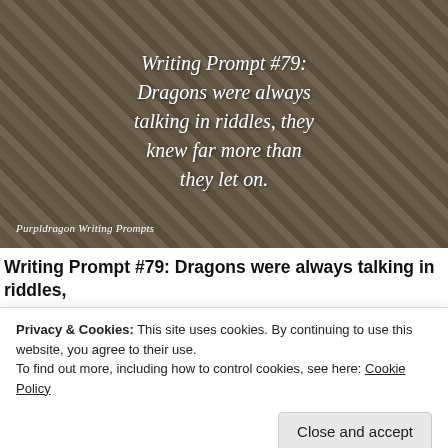[Figure (photo): Photograph of forest ground with leaves and debris, overlaid with italic white text reading 'Writing Prompt #79: Dragons were always talking in riddles, they knew far more than they let on.' and watermark 'Purpldragon Writing Prompts']
Writing Prompt #79: Dragons were always talking in riddles, they knew far more than they let on.
Privacy & Cookies: This site uses cookies. By continuing to use this website, you agree to their use. To find out more, including how to control cookies, see here: Cookie Policy